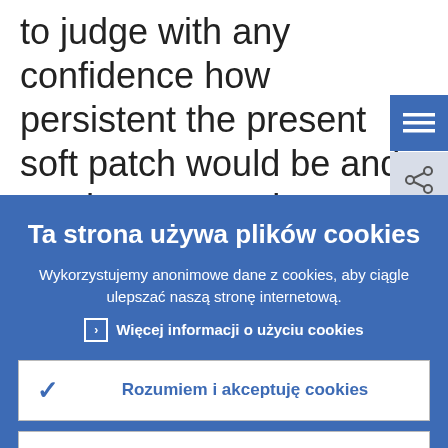to judge with any confidence how persistent the present soft patch would be and to what extent slower growth in the short te could affect the medium-term growth outlook, as some factors were temporary or sector or country specific. However,
[Figure (screenshot): Blue menu button (hamburger icon) top right]
[Figure (screenshot): Share button (network icon) top right below menu]
Ta strona używa plików cookies
Wykorzystujemy anonimowe dane z cookies, aby ciągle ulepszać naszą stronę internetową.
Więcej informacji o użyciu cookies
Rozumiem i akceptuję cookies
Nie akceptuję cookies